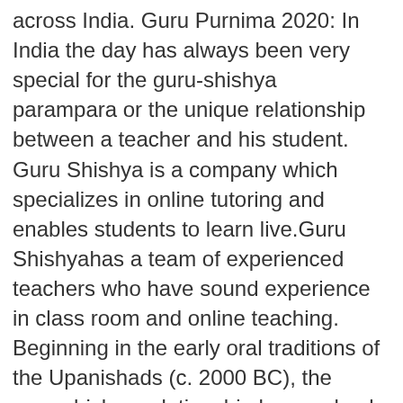across India. Guru Purnima 2020: In India the day has always been very special for the guru-shishya parampara or the unique relationship between a teacher and his student. Guru Shishya is a company which specializes in online tutoring and enables students to learn live.Guru Shishyahas a team of experienced teachers who have sound experience in class room and online teaching. Beginning in the early oral traditions of the Upanishads (c. 2000 BC), the guru-shishya relationship has evolved into a fundamental component of Hinduism. Dynamics of the relationship indicate that its basis was a complete transformation of the shishya by the guru. Questions are asked from English, General Awareness, Logical Reasoning and Management Aptitude. Happy Guru Purnima 2020. 23, 2015 | Stories about guru - disciple relationhsip. Guru Purnima is also known as Vyasa Purnima and is considered an auspicious day dedicated to one's Gurus. Enter the required credentials i.e. Another forte of our organization is helping students passing 12th in preparing for various